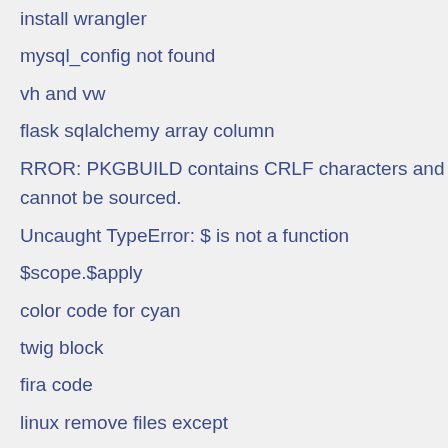install wrangler
mysql_config not found
vh and vw
flask sqlalchemy array column
RROR: PKGBUILD contains CRLF characters and cannot be sourced.
Uncaught TypeError: $ is not a function
$scope.$apply
color code for cyan
twig block
fira code
linux remove files except
calculate time python
calculator